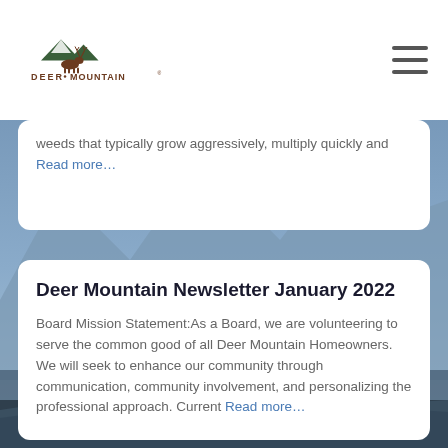[Figure (logo): Deer Mountain logo with mountain/deer silhouette graphic and text 'DEER MOUNTAIN®']
weeds that typically grow aggressively, multiply quickly and Read more…
Deer Mountain Newsletter January 2022
Board Mission Statement:As a Board, we are volunteering to serve the common good of all Deer Mountain Homeowners. We will seek to enhance our community through communication, community involvement, and personalizing the professional approach. Current Read more…